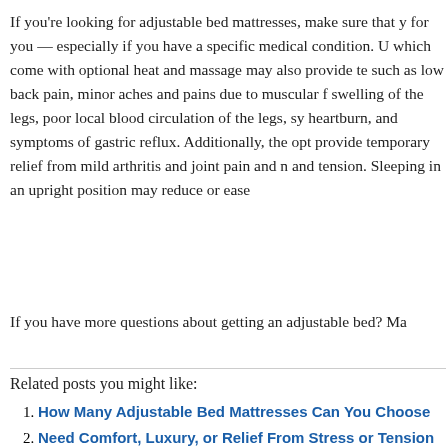If you're looking for adjustable bed mattresses, make sure that y for you — especially if you have a specific medical condition. U which come with optional heat and massage may also provide te such as low back pain, minor aches and pains due to muscular f swelling of the legs, poor local blood circulation of the legs, sy heartburn, and symptoms of gastric reflux. Additionally, the opt provide temporary relief from mild arthritis and joint pain and n and tension. Sleeping in an upright position may reduce or ease
If you have more questions about getting an adjustable bed? Ma
Related posts you might like:
How Many Adjustable Bed Mattresses Can You Choose
Need Comfort, Luxury, or Relief From Stress or Tension Adjustable Bed Systems with Optional Heat & Massage
Three Reasons That Flat Mattresses Are Inherently Infe
The Unfortunate Decline of Flat Mattresses...